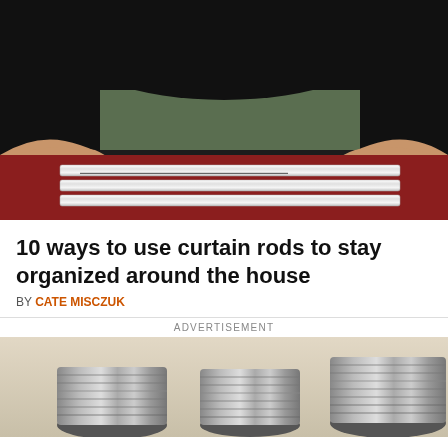[Figure (photo): Person in black top using hands with pink nails to hold curtain rods on a dark red/maroon board]
10 ways to use curtain rods to stay organized around the house
BY CATE MISCZUK
ADVERTISEMENT
[Figure (photo): Three metal tin cans on a light wooden surface]